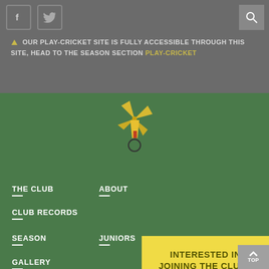[Figure (logo): Facebook icon - white F on grey square]
[Figure (logo): Twitter bird icon - white bird on grey square]
[Figure (logo): Search magnifying glass icon on grey square]
OUR PLAY-CRICKET SITE IS FULLY ACCESSIBLE THROUGH THIS SITE, HEAD TO THE SEASON SECTION PLAY-CRICKET
[Figure (illustration): Cricket club logo: yellow windmill above a white circle on green background]
THE CLUB
ABOUT
CLUB RECORDS
SEASON
JUNIORS
GALLERY
SOCIAL EVENTS
INTERESTED IN JOINING THE CLUB? Click to get in touch